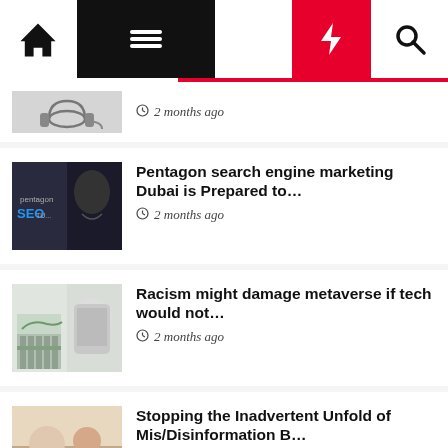Navigation bar with home, menu, moon, lightning, search icons
2 months ago
Pentagon search engine marketing Dubai is Prepared to… 2 months ago
Racism might damage metaverse if tech would not… 2 months ago
Stopping the Inadvertent Unfold of Mis/Disinformation B… 2 months ago
China desires to censor all social media feedback 2 months ago